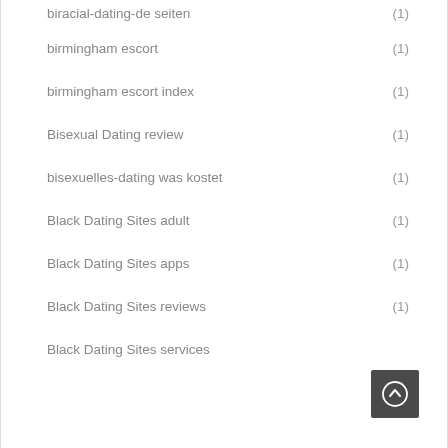biracial-dating-de seiten (1)
birmingham escort (1)
birmingham escort index (1)
Bisexual Dating review (1)
bisexuelles-dating was kostet (1)
Black Dating Sites adult (1)
Black Dating Sites apps (1)
Black Dating Sites reviews (1)
Black Dating Sites services